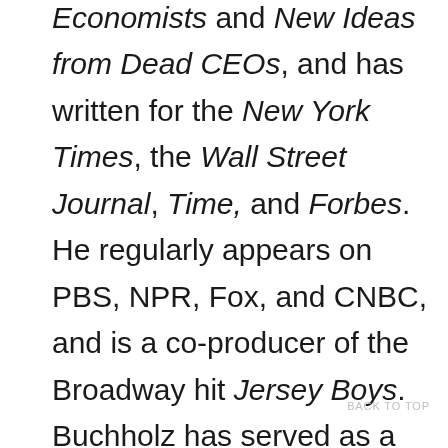Ideas from Dead Economists and New Ideas from Dead CEOs, and has written for the New York Times, the Wall Street Journal, Time, and Forbes. He regularly appears on PBS, NPR, Fox, and CNBC, and is a co-producer of the Broadway hit Jersey Boys. Buchholz has served as a fellow at Cambridge University and is the inventor of the Math Arrow Matrix. He lives in Southern California.